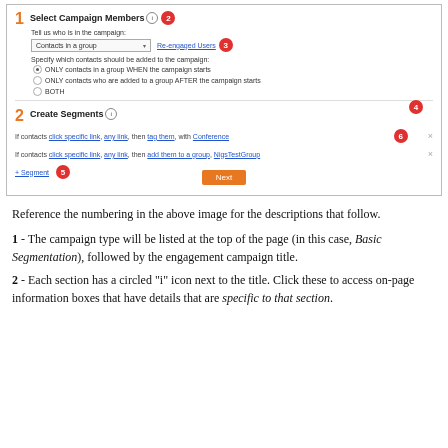[Figure (screenshot): A screenshot of a campaign setup interface showing two sections: (1) Select Campaign Members with a dropdown set to 'Contacts in a group', a 'Re-engaged Users' link, radio buttons for contact addition timing, and (2) Create Segments with two segment condition rows, an Add Segment link, and a Next button. Numbered red badges 2-6 label the UI elements.]
Reference the numbering in the above image for the descriptions that follow.
1 - The campaign type will be listed at the top of the page (in this case, Basic Segmentation), followed by the engagement campaign title.
2 - Each section has a circled "i" icon next to the title. Click these to access on-page information boxes that have details that are specific to that section.